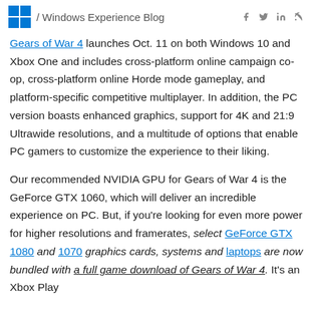/ Windows Experience Blog
Gears of War 4 launches Oct. 11 on both Windows 10 and Xbox One and includes cross-platform online campaign co-op, cross-platform online Horde mode gameplay, and platform-specific competitive multiplayer. In addition, the PC version boasts enhanced graphics, support for 4K and 21:9 Ultrawide resolutions, and a multitude of options that enable PC gamers to customize the experience to their liking.
Our recommended NVIDIA GPU for Gears of War 4 is the GeForce GTX 1060, which will deliver an incredible experience on PC. But, if you're looking for even more power for higher resolutions and framerates, select GeForce GTX 1080 and 1070 graphics cards, systems and laptops are now bundled with a full game download of Gears of War 4. It's an Xbox Play